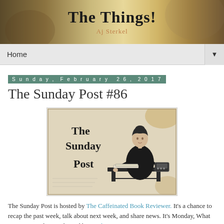[Figure (illustration): Blog header banner with 'The Things!' title in bold serif font and 'Aj Sterkel' subtitle in coral/orange color, with decorative vintage background imagery]
Home ▼
Sunday, February 26, 2017
The Sunday Post #86
[Figure (illustration): Vintage black and white illustration of a woman sitting at a desk typing, with decorative text reading 'The Sunday Post']
The Sunday Post is hosted by The Caffeinated Book Reviewer. It's a chance to recap the past week, talk about next week, and share news. It's Monday, What Are You Reading? is hosted by Book